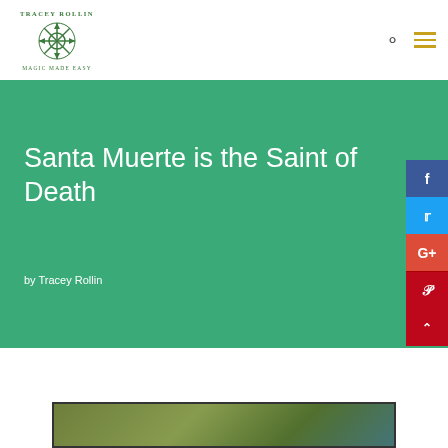Tracey Rollin — Magic Made Easy (logo)
Santa Muerte is the Saint of Death
by Tracey Rollin
[Figure (photo): Partial view of a photo at the bottom of the page showing outdoor foliage and sky]